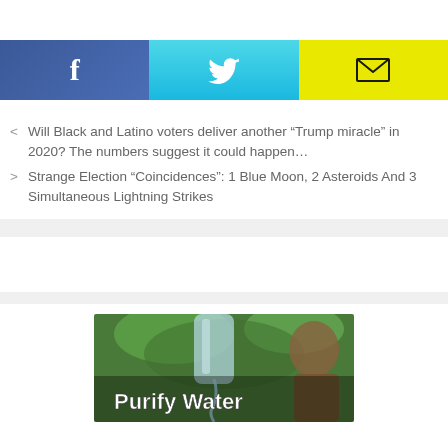[Figure (screenshot): Social share buttons: Facebook (dark blue with f icon), Twitter (cyan with bird icon), Email (yellow with envelope icon)]
< Will Black and Latino voters deliver another “Trump miracle” in 2020? The numbers suggest it could happen…
> Strange Election “Coincidences”: 1 Blue Moon, 2 Asteroids And 3 Simultaneous Lightning Strikes
[Figure (photo): Advertisement image showing a person drinking water outdoors with text 'Purify Water' overlaid in white bold text]